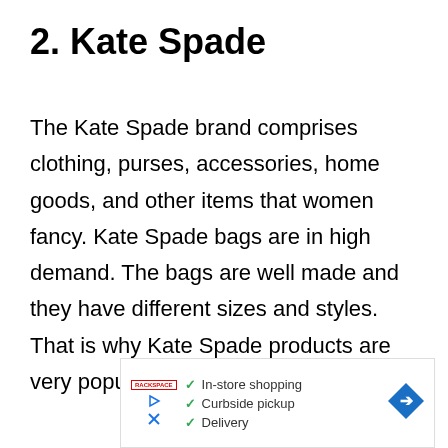2. Kate Spade
The Kate Spade brand comprises clothing, purses, accessories, home goods, and other items that women fancy. Kate Spade bags are in high demand. The bags are well made and they have different sizes and styles. That is why Kate Spade products are very popular and great items to resell.
[Figure (other): Advertisement banner showing checklist items: In-store shopping, Curbside pickup, Delivery with green checkmarks, a Rackspace logo, a directional arrow icon, a play button icon, and a close X icon.]